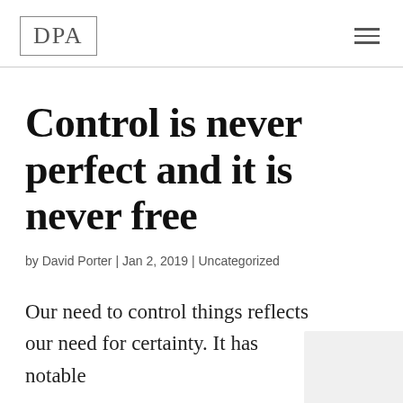DPA
Control is never perfect and it is never free
by David Porter | Jan 2, 2019 | Uncategorized
Our need to control things reflects our need for certainty. It has notable